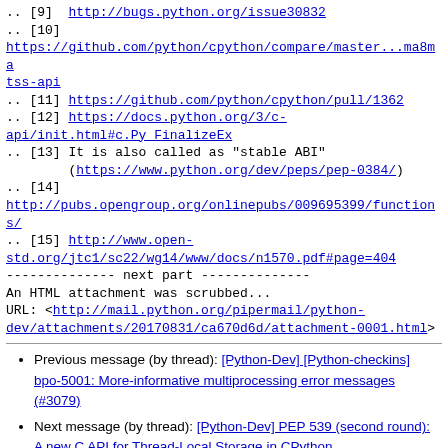.. [9] http://bugs.python.org/issue30832
.. [10] https://github.com/python/cpython/compare/master...ma8matss-api
.. [11] https://github.com/python/cpython/pull/1362
.. [12] https://docs.python.org/3/c-api/init.html#c.Py_FinalizeEx
.. [13] It is also called as "stable ABI" (https://www.python.org/dev/peps/pep-0384/)
.. [14] http://pubs.opengroup.org/onlinepubs/009695399/functions/
.. [15] http://www.open-std.org/jtc1/sc22/wg14/www/docs/n1570.pdf#page=404
-------------- next part --------------
An HTML attachment was scrubbed...
URL: <http://mail.python.org/pipermail/python-dev/attachments/20170831/ca670d6d/attachment-0001.html>
Previous message (by thread): [Python-Dev] [Python-checkins] bpo-5001: More-informative multiprocessing error messages (#3079)
Next message (by thread): [Python-Dev] PEP 539 (second round): A new C API for Thread-Local Storage in CPython
Messages sorted by: [ date ] [ thread ] [ subject ] [ author ]
More information about the Python-Dev mailing list